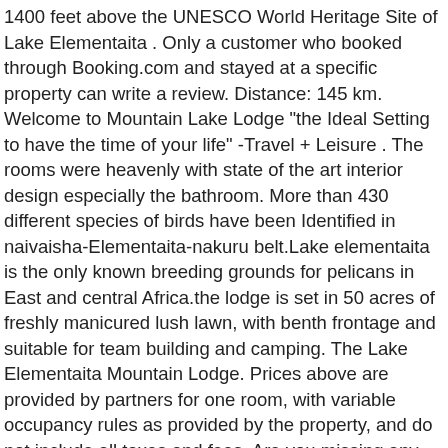1400 feet above the UNESCO World Heritage Site of Lake Elementaita . Only a customer who booked through Booking.com and stayed at a specific property can write a review. Distance: 145 km. Welcome to Mountain Lake Lodge "the Ideal Setting to have the time of your life" -Travel + Leisure . The rooms were heavenly with state of the art interior design especially the bathroom. More than 430 different species of birds have been Identified in naivaisha-Elementaita-nakuru belt.Lake elementaita is the only known breeding grounds for pelicans in East and central Africa.the lodge is set in 50 acres of freshly manicured lush lawn, with benth frontage and suitable for team building and camping. The Lake Elementaita Mountain Lodge. Prices above are provided by partners for one room, with variable occupancy rules as provided by the property, and do not include all taxes and fees. Are you missing any information about this area? The 50-room luxury hotel comprises of executive Villa Suites overlooking the Lake, conference facility, bar and restaurant, gym, swimming pool among other facilities. Join to Connect Lake Elementaita